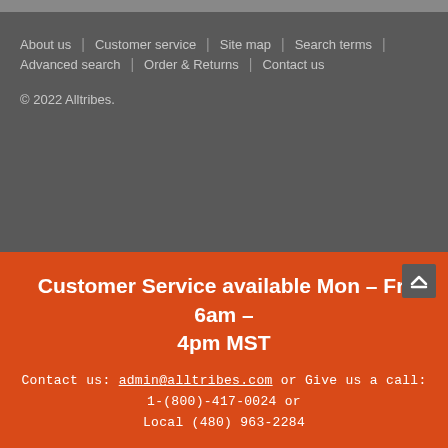About us | Customer service | Site map | Search terms | Advanced search | Order & Returns | Contact us
© 2022 Alltribes.
Customer Service available Mon - Fri 6am - 4pm MST
Contact us: admin@alltribes.com or Give us a call: 1-(800)-417-0024 or Local (480) 963-2284